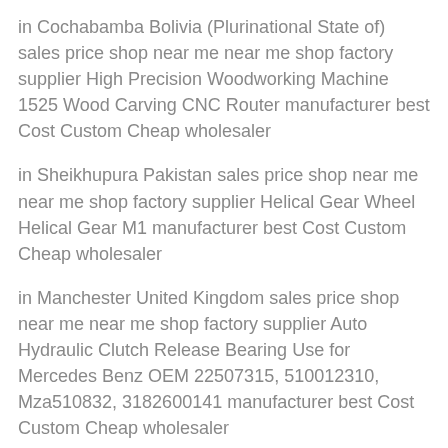in Cochabamba Bolivia (Plurinational State of) sales price shop near me near me shop factory supplier High Precision Woodworking Machine 1525 Wood Carving CNC Router manufacturer best Cost Custom Cheap wholesaler
in Sheikhupura Pakistan sales price shop near me near me shop factory supplier Helical Gear Wheel Helical Gear M1 manufacturer best Cost Custom Cheap wholesaler
in Manchester United Kingdom sales price shop near me near me shop factory supplier Auto Hydraulic Clutch Release Bearing Use for Mercedes Benz OEM 22507315, 510012310, Mza510832, 3182600141 manufacturer best Cost Custom Cheap wholesaler
in Uige Angola sales price shop near me near me shop factory supplier Non-Standard Design Available Nmrv Worm Gearbox From China manufacturer best Cost Custom Cheap wholesaler